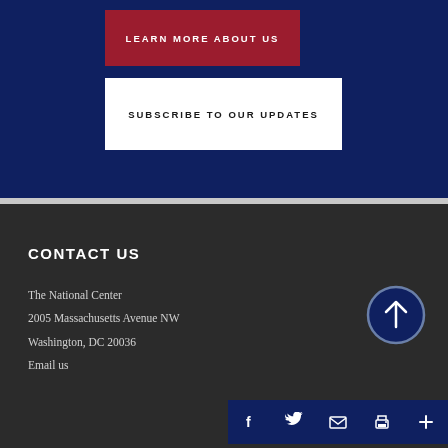LEARN MORE ABOUT US
SUBSCRIBE TO OUR UPDATES
CONTACT US
The National Center
2005 Massachusetts Avenue NW
Washington, DC 20036
Email us
Social icons: Facebook, Twitter, Email, Print, Plus